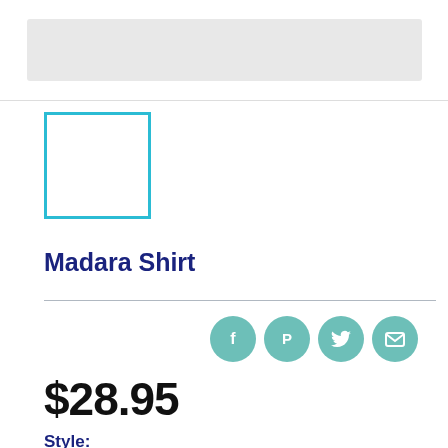[Figure (photo): Top product image area, partially cropped]
[Figure (photo): Small thumbnail image with teal border, selected state]
Madara Shirt
[Figure (infographic): Social share icons: Facebook, Pinterest, Twitter, Email — teal circles]
$28.95
Style:
G200 Gildan Ultra Cotton T-Shirt
G185 Gildan Pullover Hoodie S...